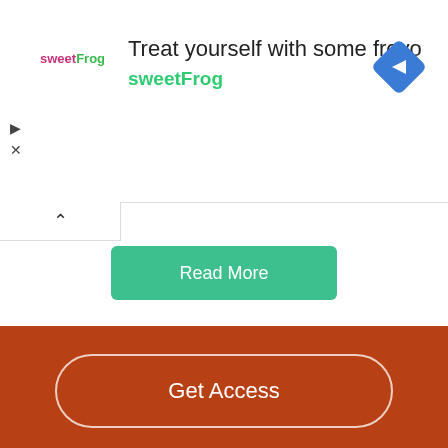[Figure (screenshot): SweetFrog froyo advertisement banner with logo, headline text, and navigation diamond icon]
[Figure (screenshot): Read More green button in white card area with collapse arrow]
[Figure (screenshot): Disney Bundle advertisement banner showing Hulu, Disney+, ESPN+ logos with GET THE DISNEY BUNDLE text]
Get Access